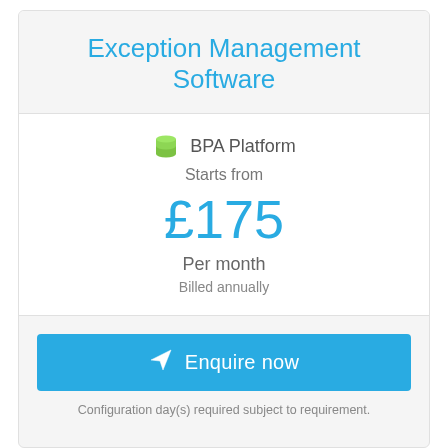Exception Management Software
BPA Platform
Starts from
£175
Per month
Billed annually
Enquire now
Configuration day(s) required subject to requirement.